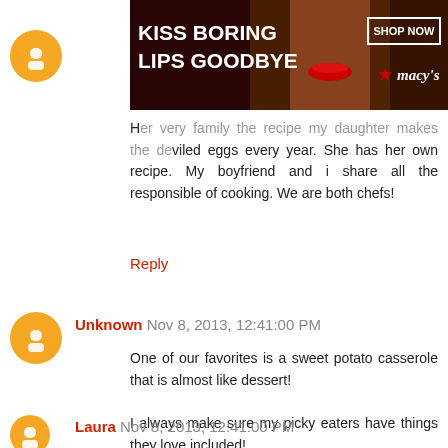[Figure (photo): Advertisement banner: 'KISS BORING LIPS GOODBYE' with a woman's face and red lips, SHOP NOW button, and Macy's logo]
Her very family the recipe my daughter makes the deviled eggs every year. She has her own recipe. My boyfriend and i share all the responsible of cooking. We are both chefs!
Reply
Unknown  Nov 8, 2013, 12:41:00 PM
One of our favorites is a sweet potato casserole that is almost like dessert!

I always make sure my picky eaters have things they love included!
Linda

lindaharmon04@gmail.com
Reply
Laura  Nov 8, 2013, 12:41:00 PM